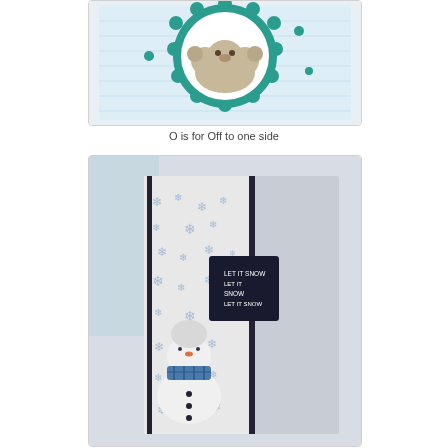[Figure (photo): Close-up photo of a handmade card featuring a teddy bear peeking over a teal scalloped circle on a light blue striped background]
O is for Off to one side
[Figure (photo): Photo of a handmade card with snowflake patterned paper strip on left side, a snowman die-cut figure, and a 'Let it Snow' sentiment tag, on grey cardstock background]